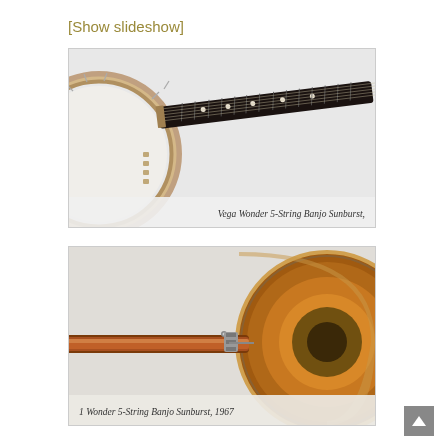[Show slideshow]
[Figure (photo): Close-up photo of a Vega Wonder 5-String Banjo Sunburst showing the round body and fretted neck extending to the upper right, with white drum head and decorative inlays]
Vega Wonder 5-String Banjo Sunburst,
[Figure (photo): Close-up photo of a Vega Wonder 5-String Banjo Sunburst 1967 showing the neck and the sunburst-finished round body from the back/side angle]
1 Wonder 5-String Banjo Sunburst, 1967